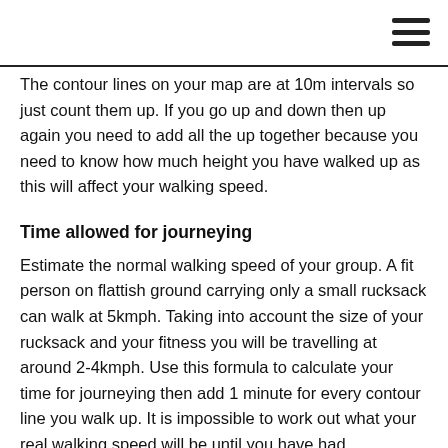The contour lines on your map are at 10m intervals so just count them up. If you go up and down then up again you need to add all the up together because you need to know how much height you have walked up as this will affect your walking speed.
Time allowed for journeying
Estimate the normal walking speed of your group. A fit person on flattish ground carrying only a small rucksack can walk at 5kmph. Taking into account the size of your rucksack and your fitness you will be travelling at around 2-4kmph. Use this formula to calculate your time for journeying then add 1 minute for every contour line you walk up. It is impossible to work out what your real walking speed will be until you have had